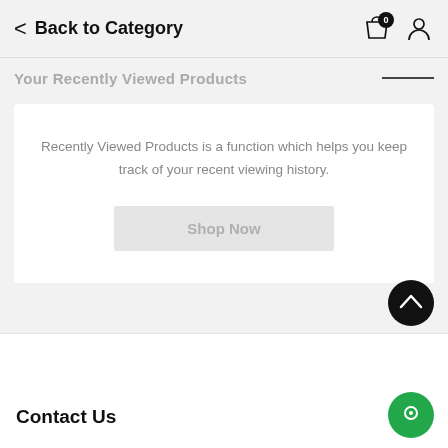Back to Category
Your Recently Viewed Products
Recently Viewed Products is a function which helps you keep track of your recent viewing history.
Shop Now
Contact Us